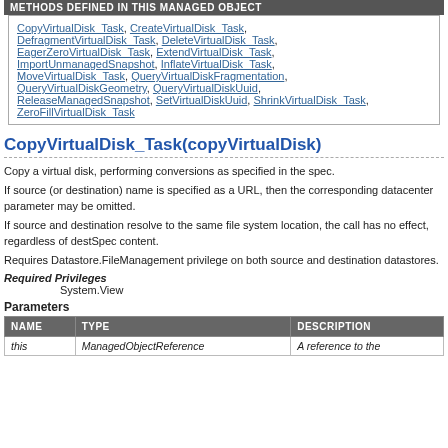METHODS DEFINED IN THIS MANAGED OBJECT
CopyVirtualDisk_Task, CreateVirtualDisk_Task, DefragmentVirtualDisk_Task, DeleteVirtualDisk_Task, EagerZeroVirtualDisk_Task, ExtendVirtualDisk_Task, ImportUnmanagedSnapshot, InflateVirtualDisk_Task, MoveVirtualDisk_Task, QueryVirtualDiskFragmentation, QueryVirtualDiskGeometry, QueryVirtualDiskUuid, ReleaseManagedSnapshot, SetVirtualDiskUuid, ShrinkVirtualDisk_Task, ZeroFillVirtualDisk_Task
CopyVirtualDisk_Task(copyVirtualDisk)
Copy a virtual disk, performing conversions as specified in the spec.
If source (or destination) name is specified as a URL, then the corresponding datacenter parameter may be omitted.
If source and destination resolve to the same file system location, the call has no effect, regardless of destSpec content.
Requires Datastore.FileManagement privilege on both source and destination datastores.
Required Privileges
System.View
Parameters
| NAME | TYPE | DESCRIPTION |
| --- | --- | --- |
| this | ManagedObjectReference | A reference to the |